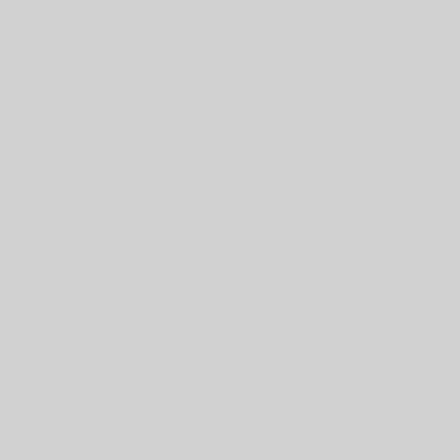| ID | Title / Format / Type |
| --- | --- |
|  | October 19...
tape 2
1/4" Open R...
Audio |
| Audiotape T-3531/155 | Press conference food processing October 19...
1/4" Open R...
Audio |
| Audiotape T-3531/156 | Press conference November 1...
1/4" Open R...
Audio |
| Audiotape T-3531/157 | Meeting of Safety Cou... 10 November 1964
1/4" Open R...
Audio |
| Audiotape T- | Report to... |